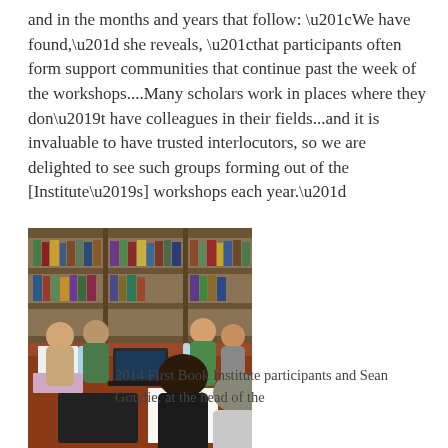and in the months and years that follow: “We have found,” she reveals, “that participants often form support communities that continue past the week of the workshops....Many scholars work in places where they don’t have colleagues in their fields...and it is invaluable to have trusted interlocutors, so we are delighted to see such groups forming out of the [Institute’s] workshops each year.”
[Figure (photo): Group of people seated around a conference table in a wood-paneled library room with bookshelves in the background. Several women are engaged in discussion. A laptop, water bottles, notebooks, and papers are on the table.]
2014 First Book Institute participants and Sean Goudie, at the head of the